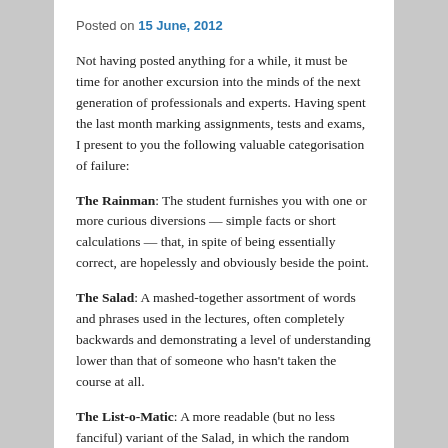Posted on 15 June, 2012
Not having posted anything for a while, it must be time for another excursion into the minds of the next generation of professionals and experts. Having spent the last month marking assignments, tests and exams, I present to you the following valuable categorisation of failure:
The Rainman: The student furnishes you with one or more curious diversions — simple facts or short calculations — that, in spite of being essentially correct, are hopelessly and obviously beside the point.
The Salad: A mashed-together assortment of words and phrases used in the lectures, often completely backwards and demonstrating a level of understanding lower than that of someone who hasn't taken the course at all.
The List-o-Matic: A more readable (but no less fanciful) variant of the Salad, in which the random assortment of words and phrases are at least arranged in a convenient bullet-point